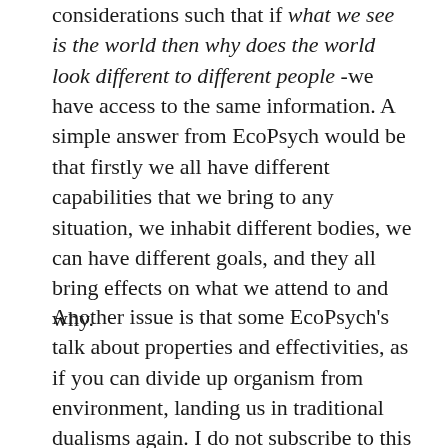considerations such that if what we see is the world then why does the world look different to different people -we have access to the same information. A simple answer from EcoPsych would be that firstly we all have different capabilities that we bring to any situation, we inhabit different bodies, we can have different goals, and they all bring effects on what we attend to and why.
Another issue is that some EcoPsych's talk about properties and effectivities, as if you can divide up organism from environment, landing us in traditional dualisms again. I do not subscribe to this way of talking specifically about the organism or the environment because I think it too easily invites dualist